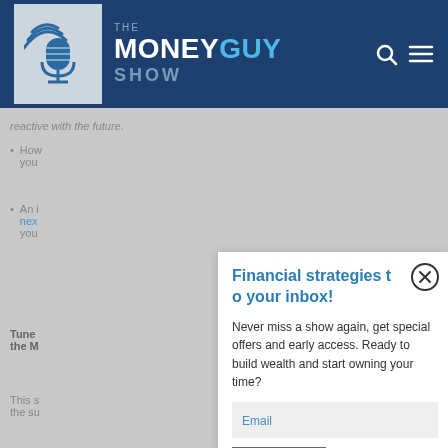THE MONEY GUY SHOW
reactive with the future.
How you
An i next you
Tune the M
This s the su
Financial strategies to your inbox!
Never miss a show again, get special offers and early access. Ready to build wealth and start owning your time?
Email
Subscribe!